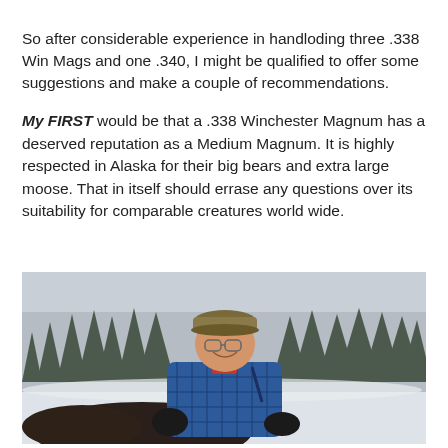So after considerable experience in handloding three .338 Win Mags and one .340, I might be qualified to offer some suggestions and make a couple of recommendations.
My FIRST would be that a .338 Winchester Magnum has a deserved reputation as a Medium Magnum. It is highly respected in Alaska for their big bears and extra large moose. That in itself should errase any questions over its suitability for comparable creatures world wide.
[Figure (photo): A smiling older man in a blue plaid flannel shirt and camouflage cap, wearing glasses, kneeling in the snow next to a large dark-furred animal (bear or moose), with snow-covered evergreen trees in the background.]